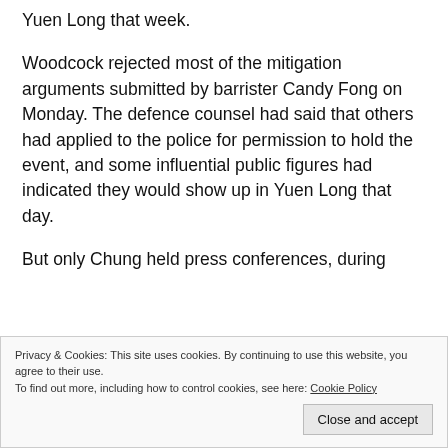Yuen Long that week.
Woodcock rejected most of the mitigation arguments submitted by barrister Candy Fong on Monday. The defence counsel had said that others had applied to the police for permission to hold the event, and some influential public figures had indicated they would show up in Yuen Long that day.
But only Chung held press conferences, during
Privacy & Cookies: This site uses cookies. By continuing to use this website, you agree to their use.
To find out more, including how to control cookies, see here: Cookie Policy
Close and accept